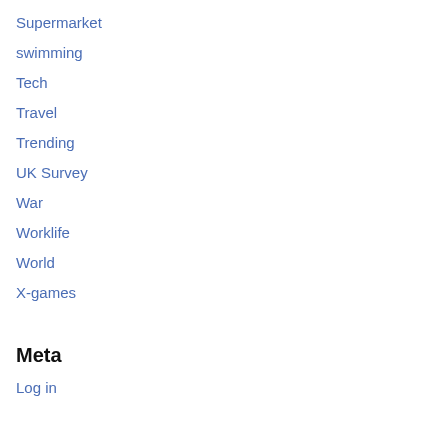Supermarket
swimming
Tech
Travel
Trending
UK Survey
War
Worklife
World
X-games
Meta
Log in